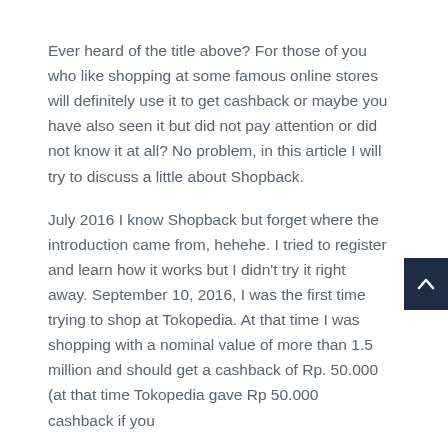Ever heard of the title above? For those of you who like shopping at some famous online stores will definitely use it to get cashback or maybe you have also seen it but did not pay attention or did not know it at all? No problem, in this article I will try to discuss a little about Shopback.
July 2016 I know Shopback but forget where the introduction came from, hehehe. I tried to register and learn how it works but I didn't try it right away. September 10, 2016, I was the first time trying to shop at Tokopedia. At that time I was shopping with a nominal value of more than 1.5 million and should get a cashback of Rp. 50.000 (at that time Tokopedia gave Rp 50.000 cashback if you